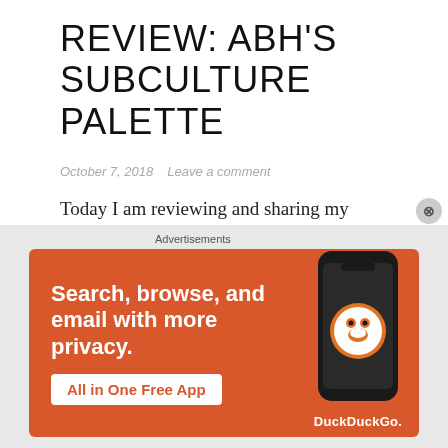REVIEW: ABH'S SUBCULTURE PALETTE
October 7, 2018   Leave a comment
Today I am reviewing and sharing my thoughts on the controversial Subculture Palette! Even though this eyeshadow palette is now consider "old news" to the beauty community, I still could not resist the urge to test out these shadows for myself! Like most of my high-end makeup products, I scored this palette at my
[Figure (screenshot): DuckDuckGo advertisement banner with orange background showing 'Search, browse, and email with more privacy. All in One Free App' with a phone showing the DuckDuckGo app logo.]